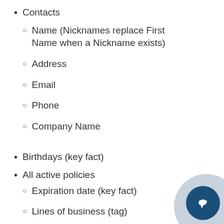Contacts
Name (Nicknames replace First Name when a Nickname exists)
Address
Email
Phone
Company Name
Birthdays (key fact)
All active policies
Expiration date (key fact)
Lines of business (tag)
Writing carrier (tag, based on optional setting)